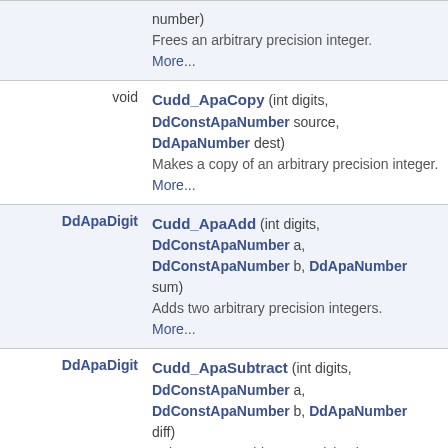| Type | Function/Description |
| --- | --- |
|  | number)
Frees an arbitrary precision integer.
More... |
| void | Cudd_ApaCopy (int digits, DdConstApaNumber source, DdApaNumber dest)
Makes a copy of an arbitrary precision integer. More... |
| DdApaDigit | Cudd_ApaAdd (int digits, DdConstApaNumber a, DdConstApaNumber b, DdApaNumber sum)
Adds two arbitrary precision integers.
More... |
| DdApaDigit | Cudd_ApaSubtract (int digits, DdConstApaNumber a, DdConstApaNumber b, DdApaNumber diff)
Subtracts two arbitrary precision integers. More... |